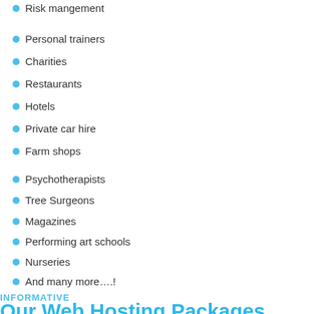Risk mangement
Personal trainers
Charities
Restaurants
Hotels
Private car hire
Farm shops
Psychotherapists
Tree Surgeons
Magazines
Performing art schools
Nurseries
And many more….!
INFORMATIVE
Our Web Hosting Packages